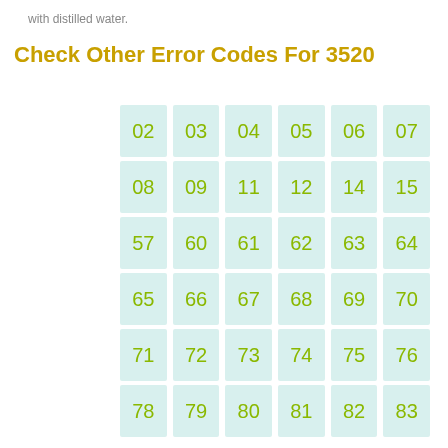with distilled water.
Check Other Error Codes For 3520
| 02 | 03 | 04 | 05 | 06 | 07 |
| 08 | 09 | 11 | 12 | 14 | 15 |
| 57 | 60 | 61 | 62 | 63 | 64 |
| 65 | 66 | 67 | 68 | 69 | 70 |
| 71 | 72 | 73 | 74 | 75 | 76 |
| 78 | 79 | 80 | 81 | 82 | 83 |